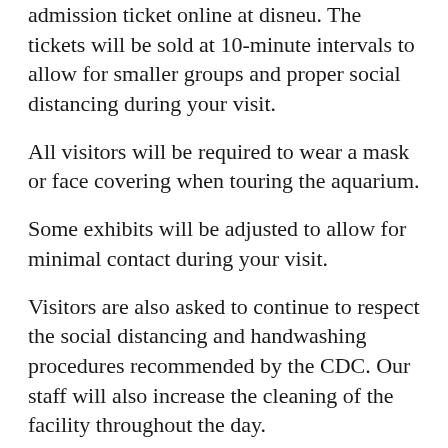admission ticket online at disneu. The tickets will be sold at 10-minute intervals to allow for smaller groups and proper social distancing during your visit.
All visitors will be required to wear a mask or face covering when touring the aquarium.
Some exhibits will be adjusted to allow for minimal contact during your visit.
Visitors are also asked to continue to respect the social distancing and handwashing procedures recommended by the CDC. Our staff will also increase the cleaning of the facility throughout the day.
We appreciate your understanding and cooperation with our new protocols as with the goal of making your visit safe and memorable.
Click here to purchase tickets